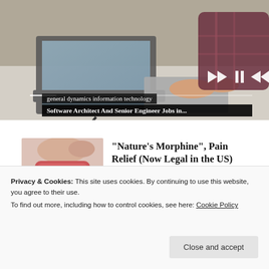[Figure (photo): Person typing on a laptop at a desk, wearing a plaid shirt. Video player controls visible in bottom-right corner.]
general dynamics information technology Software Architect And Senior Engineer Jobs in...
[Figure (photo): A red gummy candy held between two fingers, close-up.]
"Nature's Morphine", Pain Relief (Now Legal in the US)
Health Breakthroughs
Privacy & Cookies: This site uses cookies. By continuing to use this website, you agree to their use.
To find out more, including how to control cookies, see here: Cookie Policy